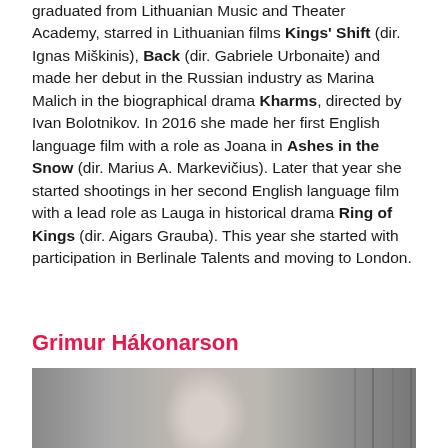graduated from Lithuanian Music and Theater Academy, starred in Lithuanian films Kings' Shift (dir. Ignas Miškinis), Back (dir. Gabriele Urbonaite) and made her debut in the Russian industry as Marina Malich in the biographical drama Kharms, directed by Ivan Bolotnikov. In 2016 she made her first English language film with a role as Joana in Ashes in the Snow (dir. Marius A. Markevičius). Later that year she started shootings in her second English language film with a lead role as Lauga in historical drama Ring of Kings (dir. Aigars Grauba). This year she started with participation in Berlinale Talents and moving to London.
Grimur Hákonarson
[Figure (photo): Black and white portrait photo of a bald man facing the camera, with wooden plank background visible on the right side.]